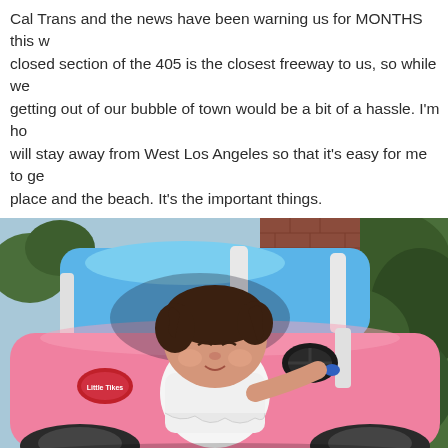Cal Trans and the news have been warning us for MONTHS this w closed section of the 405 is the closest freeway to us, so while we getting out of our bubble of town would be a bit of a hassle. I'm ho will stay away from West Los Angeles so that it's easy for me to ge place and the beach. It's the important things.
What do you think the odds are that a Cal Trans worker will let m Annie in her car on the closed freeway?
[Figure (photo): A baby/toddler girl with dark hair sitting in a pink and blue Little Tikes Cozy Coupe toy car outdoors, with greenery in the background.]